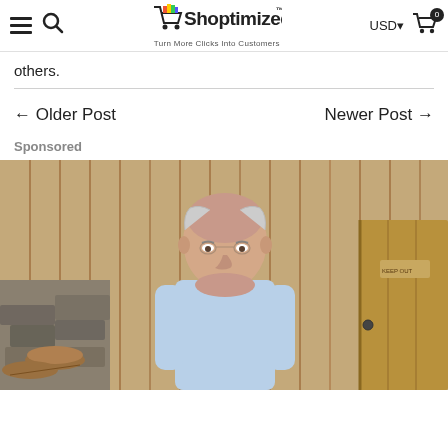Shoptimized™ — Turn More Clicks Into Customers (USD, cart: 0)
others.
← Older Post    Newer Post →
Sponsored
[Figure (photo): An older bald man wearing a light blue dress shirt, standing outdoors in front of a wooden barn structure with stacked logs and stone walls visible in the background.]